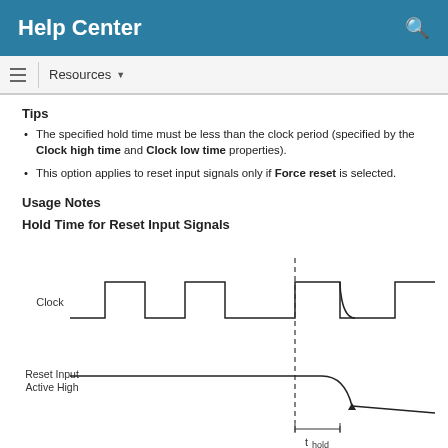Help Center
Resources
Tips
The specified hold time must be less than the clock period (specified by the Clock high time and Clock low time properties).
This option applies to reset input signals only if Force reset is selected.
Usage Notes
Hold Time for Reset Input Signals
[Figure (engineering-diagram): Timing diagram showing Clock signal (square wave with multiple pulses) and Reset Input Active High signal. A dashed vertical line marks the clock edge. The Reset Input Active High signal has a curved transition downward from high to low, with an arrow indicating the transition point. Below the diagram, 't_hold' is labeled with bracket markers indicating the hold time interval.]